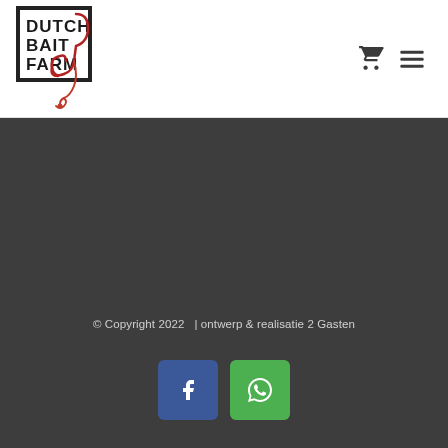[Figure (logo): Dutch Bait Farm logo with text and fishing hook illustration inside a square border]
[Figure (other): Shopping cart icon and hamburger menu icon in the top right navigation area]
© Copyright 2022  | ontwerp & realisatie 2 Gasten
[Figure (other): Facebook icon button (blue) and WhatsApp icon button (green)]